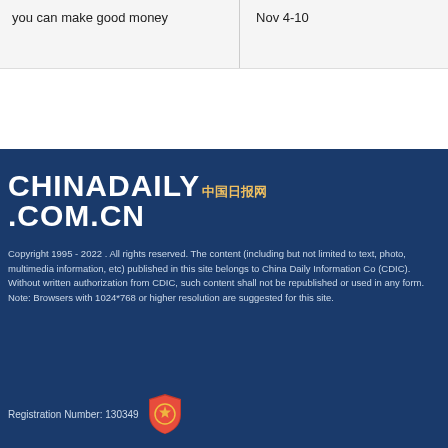you can make good money
Nov 4-10
[Figure (logo): China Daily .com.cn logo in white text on dark blue background with Chinese characters]
Copyright 1995 - 2022 . All rights reserved. The content (including but not limited to text, photo, multimedia information, etc) published in this site belongs to China Daily Information Co (CDIC). Without written authorization from CDIC, such content shall not be republished or used in any form. Note: Browsers with 1024*768 or higher resolution are suggested for this site.
Registration Number: 130349